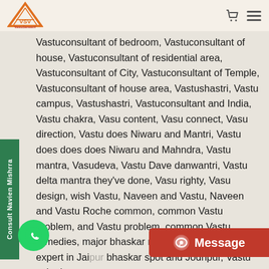[Figure (logo): VastuSarwasV logo with orange triangle and VSV text]
Vastuconsultant of bedroom, Vastuconsultant of house, Vastuconsultant of residential area, Vastuconsultant of City, Vastuconsultant of Temple, Vastuconsultant of house area, Vastushastri, Vastu campus, Vastushastri, Vastuconsultant and India, Vastu chakra, Vasu content, Vasu connect, Vasu direction, Vastu does Niwaru and Mantri, Vastu does does does Niwaru and Mahndra, Vastu mantra, Vasudeva, Vastu Dave danwantri, Vastu delta mantra they've done, Vasu righty, Vasu design, wish Vastu, Naveen and Vastu, Naveen and Vastu Roche common, common Vastu problem, and Vastu problem, common Vastu remedies, major bhaskar remedies vastukar, Vastu expert in Jaipur bhaskar spot and Jodhpur, Vastu asked